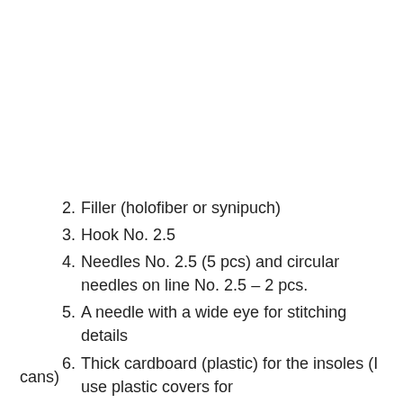2. Filler (holofiber or synipuch)
3. Hook No. 2.5
4. Needles No. 2.5 (5 pcs) and circular needles on line No. 2.5 – 2 pcs.
5. A needle with a wide eye for stitching details
6. Thick cardboard (plastic) for the insoles (I use plastic covers for
cans)